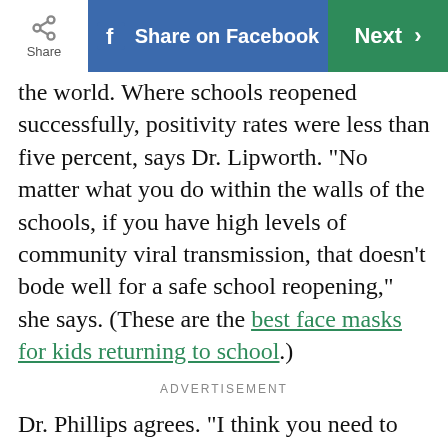Share | Share on Facebook | Next >
the world. Where schools reopened successfully, positivity rates were less than five percent, says Dr. Lipworth. “No matter what you do within the walls of the schools, if you have high levels of community viral transmission, that doesn’t bode well for a safe school reopening,” she says. (These are the best face masks for kids returning to school.)
ADVERTISEMENT
Dr. Phillips agrees. “I think you need to have infection rates in a community under five percent to open up schools,” he says. “Kids are not going to socially distance, they’re not going to wear their